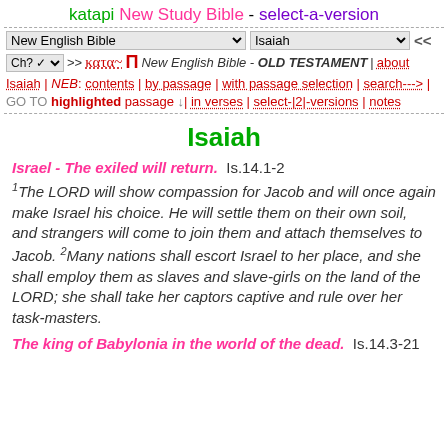katapi New Study Bible - select-a-version
New English Bible | Isaiah | << navigation controls
Ch? >> κατα~ Π New English Bible - OLD TESTAMENT | about Isaiah | NEB: contents | by passage | with passage selection | search---> | GO TO highlighted passage | in verses | select-|2|-versions | notes
Isaiah
Israel - The exiled will return.  Is.14.1-2
1The LORD will show compassion for Jacob and will once again make Israel his choice. He will settle them on their own soil, and strangers will come to join them and attach themselves to Jacob. 2Many nations shall escort Israel to her place, and she shall employ them as slaves and slave-girls on the land of the LORD; she shall take her captors captive and rule over her task-masters.
The king of Babylonia in the world of the dead.  Is.14.3-21